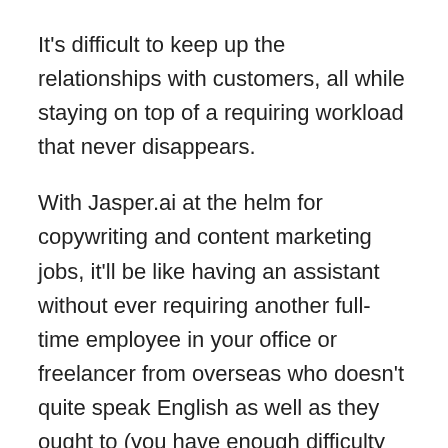It's difficult to keep up the relationships with customers, all while staying on top of a requiring workload that never disappears.
With Jasper.ai at the helm for copywriting and content marketing jobs, it'll be like having an assistant without ever requiring another full-time employee in your office or freelancer from overseas who doesn't quite speak English as well as they ought to (you have enough difficulty dealing with this currently).
With the help of Jasper.ai, you 'd have the ability to rapidly compose enticing copy for your business to acquire more clients and still utilize the exact same